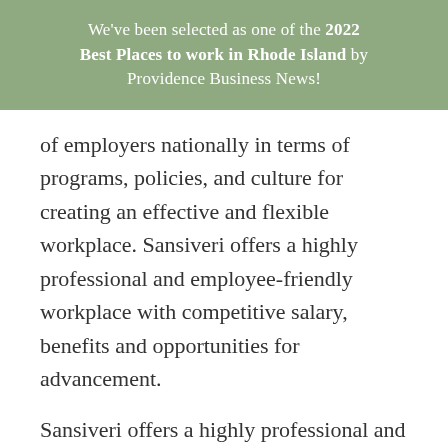We've been selected as one of the 2022 Best Places to work in Rhode Island by Providence Business News!
of employers nationally in terms of programs, policies, and culture for creating an effective and flexible workplace. Sansiveri offers a highly professional and employee-friendly workplace with competitive salary, benefits and opportunities for advancement.
Sansiveri offers a highly professional and employee-friendly workplace with a competitive salary, comprehensive benefits, remote work options, flexible schedules and opportunities for career growth and advancement.